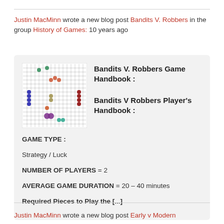Justin MacMinn wrote a new blog post Bandits V. Robbers in the group History of Games: 10 years ago
[Figure (other): Game board grid image for Bandits V. Robbers showing colored pieces on a grid]
Bandits V. Robbers Game Handbook :
Bandits V Robbers Player's Handbook :
GAME TYPE :
Strategy / Luck
NUMBER OF PLAYERS = 2
AVERAGE GAME DURATION = 20 – 40 minutes
Required Pieces to Play the [...]
Justin MacMinn wrote a new blog post Early v Modern